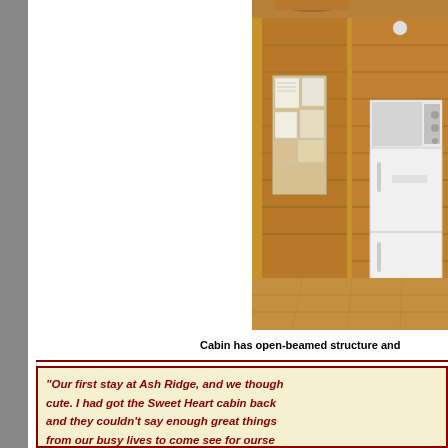[Figure (photo): Interior of a log cabin showing open-beamed wooden walls, a bulletin board with papers pinned to it, a white refrigerator, and a microwave on top of the refrigerator. Wooden plank flooring visible.]
Cabin has open-beamed structure and
"Our first stay at Ash Ridge, and we thought it was really cute. I had got the Sweet Heart cabin back and they couldn't say enough great things from our busy lives to come see for ourselves with our 1st sweet baby due in Aug. We h